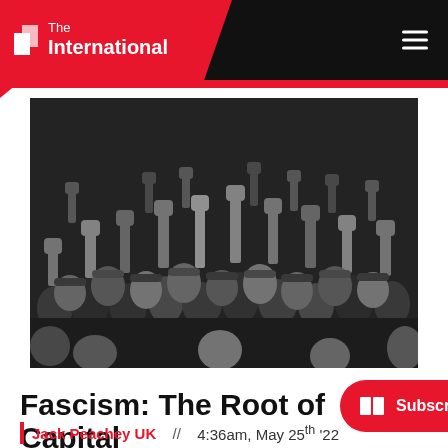[Figure (logo): The International magazine logo — white text on red trapezoid background with black header bar and hamburger menu icon]
[Figure (photo): Black and white historical photograph of a large crowd of workers raising their fists in the air]
Fascism: The Root of Capital
[Figure (other): Red rounded rectangle Subscribe to Magazine button with open book icon]
Jack Peachey UK  //  4:36am, May 25th '22